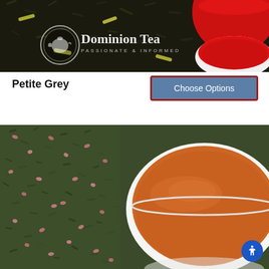[Figure (photo): Close-up photo of loose black tea leaves with lemon grass pieces and a white cup/bowl with red liquid (tea), overlaid with 'Dominion Tea - Passionate & Informed' logo and text in white]
Petite Grey
[Figure (other): Button labeled 'Choose Options' with blue background and dark red/maroon border]
[Figure (photo): Close-up photo of green tea leaves with pink flower petals and a white cup filled with amber/orange brewed tea]